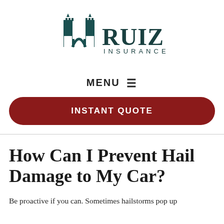[Figure (logo): Ruiz Insurance logo with arch/castle tower icon in teal/dark green and the text RUIZ INSURANCE]
MENU ☰
INSTANT QUOTE
How Can I Prevent Hail Damage to My Car?
Be proactive if you can. Sometimes hailstorms pop up